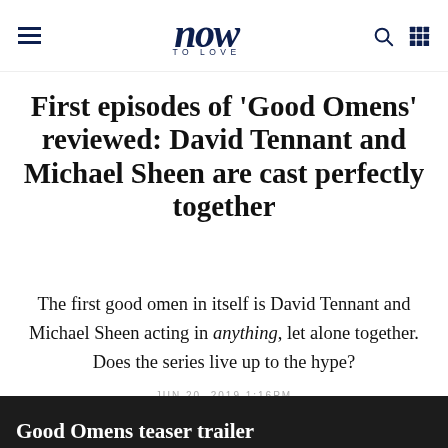now TO LOVE
First episodes of 'Good Omens' reviewed: David Tennant and Michael Sheen are cast perfectly together
The first good omen in itself is David Tennant and Michael Sheen acting in anything, let alone together. Does the series live up to the hype?
JUN 20, 2019 1:16PM
Good Omens teaser trailer